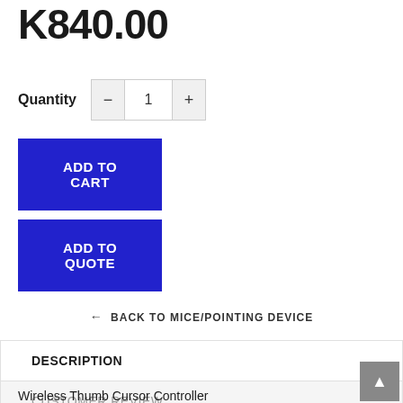K840.00
Quantity  −  1  +
ADD TO CART
ADD TO QUOTE
← BACK TO MICE/POINTING DEVICE
DESCRIPTION
CUSTOMER REVIEW
Wireless Thumb Cursor Controller